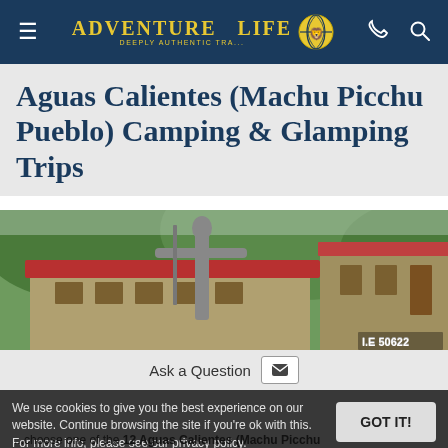Adventure Life — navigation bar with hamburger menu, logo, phone and search icons
Aguas Calientes (Machu Picchu Pueblo) Camping & Glamping Trips
[Figure (photo): A metal statue of an Incan figure holding a staff with arms outstretched, standing in front of a building with a red roof and green forested hills in the background. A watermark reads 'I.E 50622'.]
Ask a Question
We use cookies to give you the best experience on our website. Continue browsing the site if you're ok with this. For more info, please see our privacy policy.
GOT IT!
...choose one of the 12 Aguas Calientes (Machu Picchu Pueblo) camping and glamping trips below...as the ba...